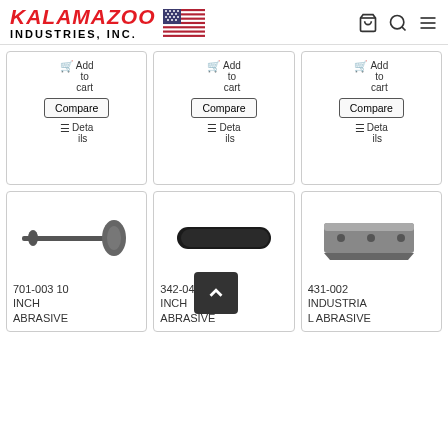Kalamazoo Industries, Inc.
[Figure (screenshot): Three product cards showing Add to cart, Compare, and Details buttons]
[Figure (photo): 701-003 10 INCH ABRASIVE - a spindle/arbor part on a long rod]
[Figure (photo): 342-043 10 INCH ABRASIVE - a black oval/rounded rectangular abrasive pad]
[Figure (photo): 431-002 INDUSTRIAL ABRASIVE - a rectangular metal block with holes]